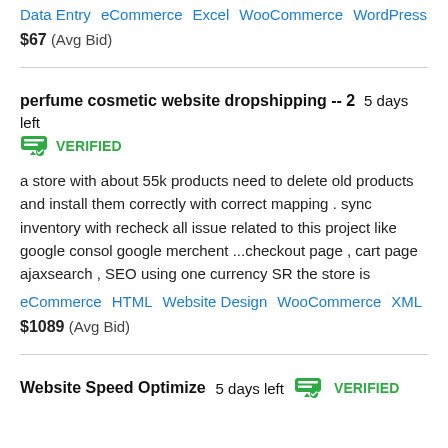Data Entry   eCommerce   Excel   WooCommerce   WordPress
$67  (Avg Bid)
perfume cosmetic website dropshipping -- 2  5 days left  VERIFIED
a store with about 55k products need to delete old products and install them correctly with correct mapping . sync inventory with recheck all issue related to this project like google consol google merchent ...checkout page , cart page ajaxsearch , SEO using one currency SR the store is
eCommerce   HTML   Website Design   WooCommerce   XML
$1089  (Avg Bid)
Website Speed Optimize  5 days left  VERIFIED